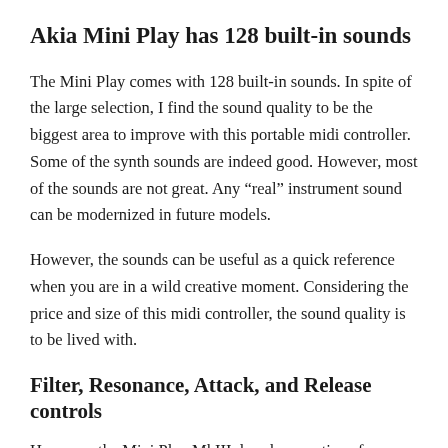Akia Mini Play has 128 built-in sounds
The Mini Play comes with 128 built-in sounds. In spite of the large selection, I find the sound quality to be the biggest area to improve with this portable midi controller. Some of the synth sounds are indeed good. However, most of the sounds are not great. Any “real” instrument sound can be modernized in future models.
However, the sounds can be useful as a quick reference when you are in a wild creative moment. Considering the price and size of this midi controller, the sound quality is to be lived with.
Filter, Resonance, Attack, and Release controls
However, the Mini Play MkIII does have options for altering each sound. Filter, Resonance, Reverb, Chorus, Attack, Release,